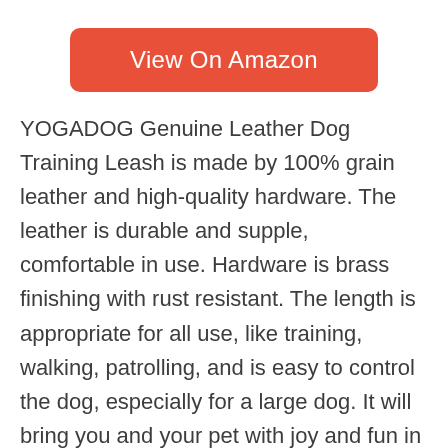[Figure (other): Orange rounded button labeled 'View On Amazon']
YOGADOG Genuine Leather Dog Training Leash is made by 100% grain leather and high-quality hardware. The leather is durable and supple, comfortable in use. Hardware is brass finishing with rust resistant. The length is appropriate for all use, like training, walking, patrolling, and is easy to control the dog, especially for a large dog. It will bring you and your pet with joy and fun in the life. It is a great choice. You just cannot miss it!